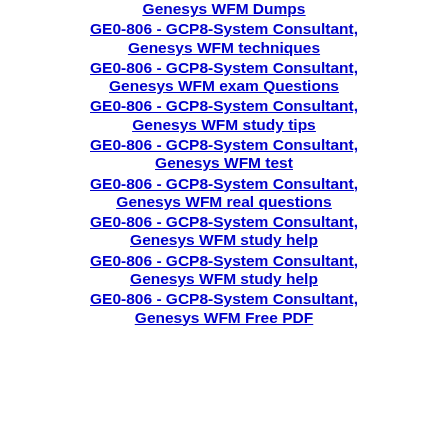Genesys WFM Dumps
GE0-806 - GCP8-System Consultant, Genesys WFM techniques
GE0-806 - GCP8-System Consultant, Genesys WFM exam Questions
GE0-806 - GCP8-System Consultant, Genesys WFM study tips
GE0-806 - GCP8-System Consultant, Genesys WFM test
GE0-806 - GCP8-System Consultant, Genesys WFM real questions
GE0-806 - GCP8-System Consultant, Genesys WFM study help
GE0-806 - GCP8-System Consultant, Genesys WFM study help
GE0-806 - GCP8-System Consultant, Genesys WFM Free PDF